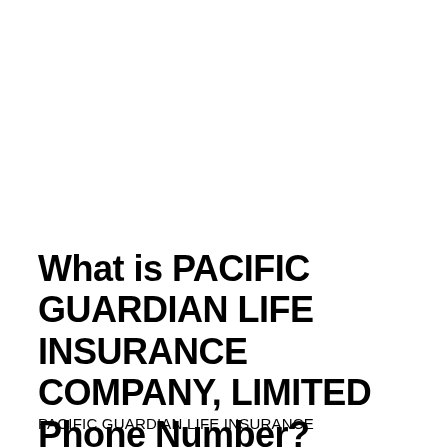What is PACIFIC GUARDIAN LIFE INSURANCE COMPANY, LIMITED Phone Number?
PACIFIC GUARDIAN LIFE INSURANCE